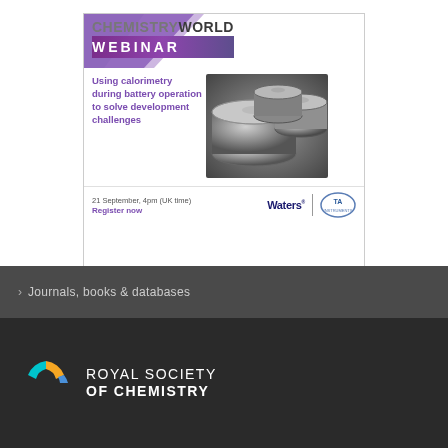[Figure (illustration): Chemistry World Webinar advertisement banner. Shows 'CHEMISTRY WORLD WEBINAR' header with purple gradient, text 'Using calorimetry during battery operation to solve development challenges', date '21 September, 4pm (UK time)', 'Register now' link, image of coin/button cells batteries, and Waters | TA Instruments sponsor logos.]
› Journals, books & databases
[Figure (logo): Royal Society of Chemistry logo: circular C-shaped icon in teal/yellow/blue with text 'ROYAL SOCIETY OF CHEMISTRY' in white on dark background.]